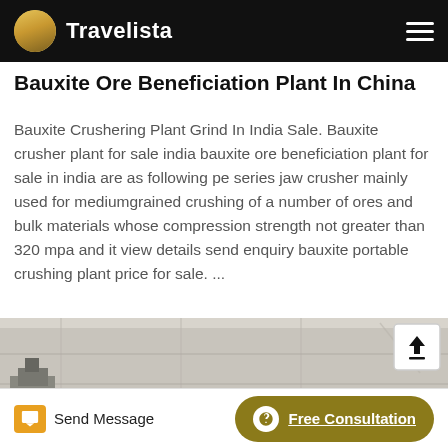Travelista
Bauxite Ore Beneficiation Plant In China
Bauxite Crushering Plant Grind In India Sale. Bauxite crusher plant for sale india bauxite ore beneficiation plant for sale in india are as following pe series jaw crusher mainly used for mediumgrained crushing of a number of ores and bulk materials whose compression strength not greater than 320 mpa and it view details send enquiry bauxite portable crushing plant price for sale. ...
[Figure (photo): Photograph of a bauxite processing or beneficiation plant showing large stone/concrete blocks or materials with industrial equipment visible in the lower left]
Send Message | Free Consultation